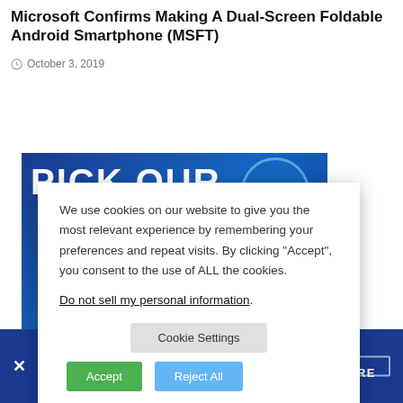Microsoft Confirms Making A Dual-Screen Foldable Android Smartphone (MSFT)
October 3, 2019
[Figure (screenshot): Blue financial news website background with bold white text 'PICK OUR' visible behind a cookie consent modal dialog]
We use cookies on our website to give you the most relevant experience by remembering your preferences and repeat visits. By clicking “Accept”, you consent to the use of ALL the cookies.

Do not sell my personal information.
[Figure (screenshot): Direxion ETFs Funds advertisement banner at the bottom with blue background, Direxion logo, and EXPLORE button]